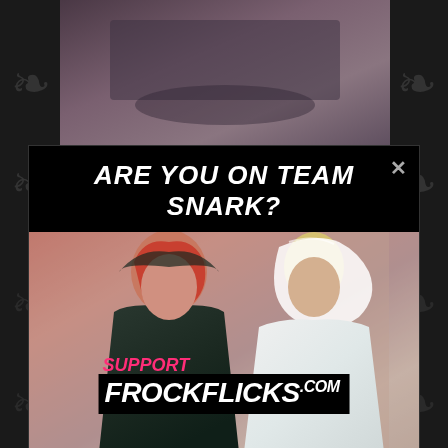[Figure (photo): Top portion of a website screenshot showing a partial photo at the top]
ARE YOU ON TEAM SNARK?
[Figure (photo): Movie still of two women in period costume — a redhead in a dark hood/cape and a blonde in white bridal attire — with overlay text 'SUPPORT FROCKFLICKS.COM']
Give via PayPal, Ko-fi, & Patreon, or buy swag!
[Figure (photo): Bottom portion of a website screenshot showing a partial photo at the bottom with an ornate basin or fountain]